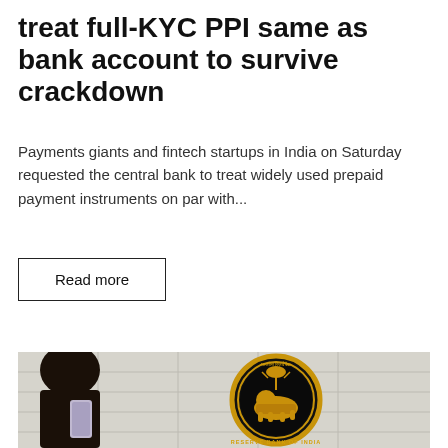treat full-KYC PPI same as bank account to survive crackdown
Payments giants and fintech startups in India on Saturday requested the central bank to treat widely used prepaid payment instruments on par with...
Read more
[Figure (photo): A person holding a smartphone in the foreground, with the Reserve Bank of India (RBI) emblem/seal mounted on a wall in the background. The gold emblem shows a lion with wheat stalks and reads 'RESERVE BANK OF INDIA' and Hindi text around the circular border.]